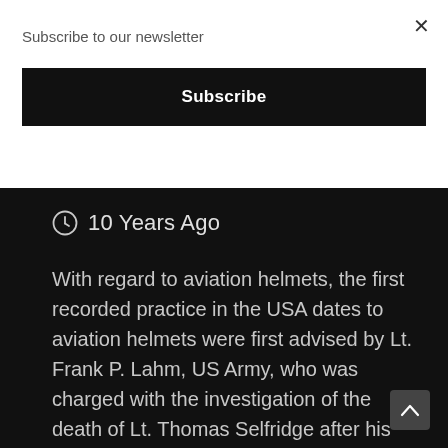Subscribe to our newsletter
Subscribe
×
🕐 10 Years Ago
With regard to aviation helmets, the first recorded practice in the USA dates to aviation helmets were first advised by Lt. Frank P. Lahm, US Army, who was charged with the investigation of the death of Lt. Thomas Selfridge after his September 17, 1908, crash with Orville Wright (who survived with